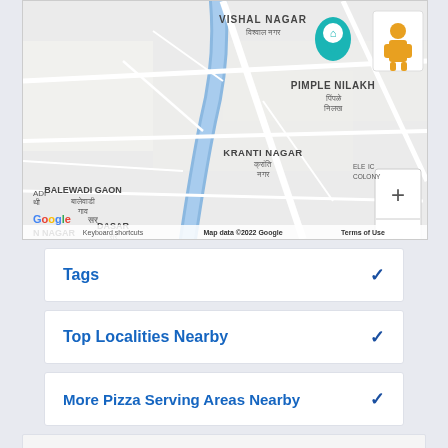[Figure (map): Google Maps showing area with labels: VISHAL NAGAR, PIMPLE NILAKH, BALEWADI GAON, KRANTI NAGAR, DASAR, ELECTRONIC COLONY. Blue river/road runs through center. Location pin visible. Google branding, zoom controls, keyboard shortcuts, Map data ©2022 Google, Terms of Use.]
Tags
Top Localities Nearby
More Pizza Serving Areas Nearby
Categories
Top Rated Domino's Restaurants Nearby